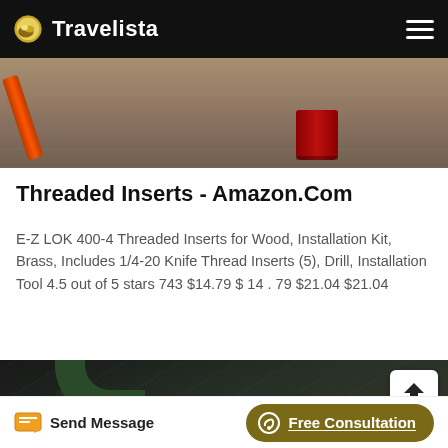Travelista
[Figure (photo): Top photo showing industrial scene with orange pipe and red barrel against concrete wall]
Threaded Inserts - Amazon.Com
E-Z LOK 400-4 Threaded Inserts for Wood, Installation Kit, Brass, Includes 1/4-20 Knife Thread Inserts (5), Drill, Installation Tool 4.5 out of 5 stars 743 $14.79 $ 14 . 79 $21.04 $21.04
[Figure (photo): Bottom photo showing industrial pipes curving under a warehouse roof with steel beams visible]
Send Message | Free Consultation